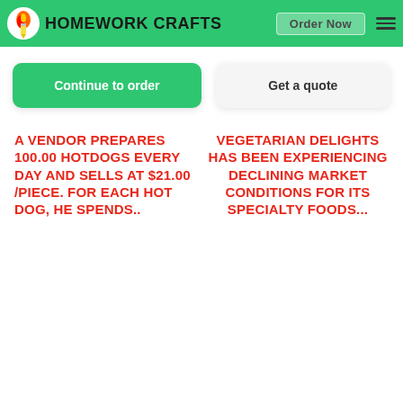HOMEWORK CRAFTS | Order Now
Continue to order
Get a quote
A VENDOR PREPARES 100.00 HOTDOGS EVERY DAY AND SELLS AT $21.00 /PIECE. FOR EACH HOT DOG, HE SPENDS..
VEGETARIAN DELIGHTS HAS BEEN EXPERIENCING DECLINING MARKET CONDITIONS FOR ITS SPECIALTY FOODS...